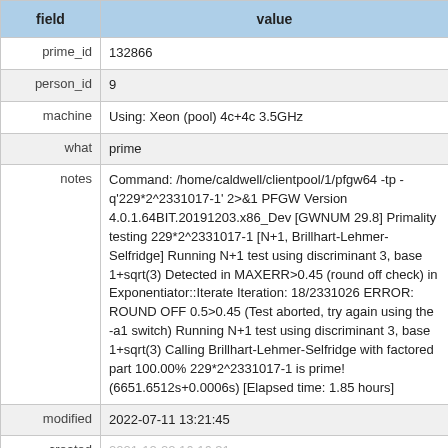| field | value |
| --- | --- |
| prime_id | 132866 |
| person_id | 9 |
| machine | Using: Xeon (pool) 4c+4c 3.5GHz |
| what | prime |
| notes | Command: /home/caldwell/clientpool/1/pfgw64 -tp -q'229*2^2331017-1' 2>&1 PFGW Version 4.0.1.64BIT.20191203.x86_Dev [GWNUM 29.8] Primality testing 229*2^2331017-1 [N+1, Brillhart-Lehmer-Selfridge] Running N+1 test using discriminant 3, base 1+sqrt(3) Detected in MAXERR>0.45 (round off check) in Exponentiator::Iterate Iteration: 18/2331026 ERROR: ROUND OFF 0.5>0.45 (Test aborted, try again using the -a1 switch) Running N+1 test using discriminant 3, base 1+sqrt(3) Calling Brillhart-Lehmer-Selfridge with factored part 100.00% 229*2^2331017-1 is prime! (6651.6512s+0.0006s) [Elapsed time: 1.85 hours] |
| modified | 2022-07-11 13:21:45 |
| created | 2021-12-22 16:16:31 |